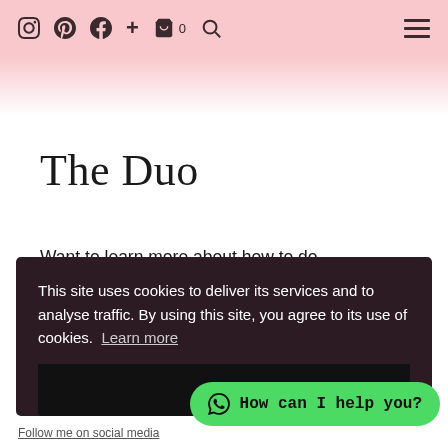Instagram Pinterest Facebook + Cart0 Search | Menu
The Duo
Want to learn more about how to do
This site uses cookies to deliver its services and to analyse traffic. By using this site, you agree to its use of cookies. Learn more
OK
How can I help you?
Follow me on social media